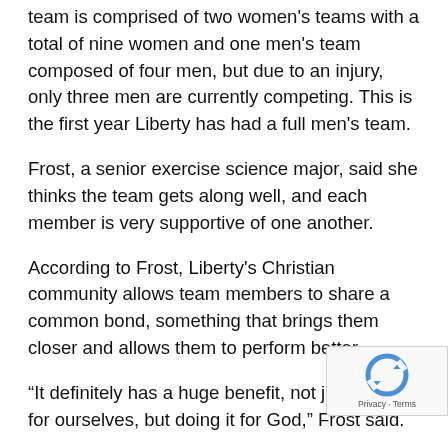team is comprised of two women's teams with a total of nine women and one men's team composed of four men, but due to an injury, only three men are currently competing. This is the first year Liberty has had a full men's team.
Frost, a senior exercise science major, said she thinks the team gets along well, and each member is very supportive of one another.
According to Frost, Liberty's Christian community allows team members to share a common bond, something that brings them closer and allows them to perform better.
“It definitely has a huge benefit, not just doing it for ourselves, but doing it for God,” Frost said.
As the captain for the Liberty team for the second in a row, Frost said she believes her role as captain is to